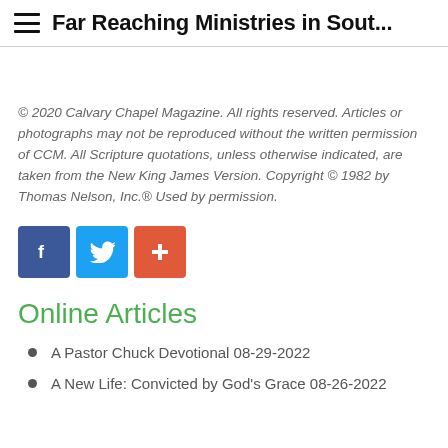Far Reaching Ministries in Sout...
© 2020 Calvary Chapel Magazine. All rights reserved. Articles or photographs may not be reproduced without the written permission of CCM. All Scripture quotations, unless otherwise indicated, are taken from the New King James Version. Copyright © 1982 by Thomas Nelson, Inc.® Used by permission.
[Figure (infographic): Three social media sharing buttons: Facebook (blue, f icon), Twitter (light blue, bird icon), and a plus/share button (orange-red, + icon)]
Online Articles
A Pastor Chuck Devotional 08-29-2022
A New Life: Convicted by God's Grace 08-26-2022